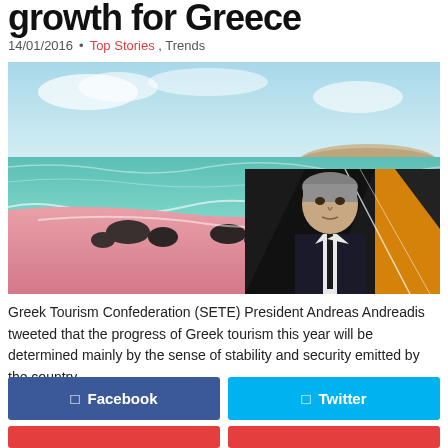growth for Greece
14/01/2016 · Top Stories , Trends
[Figure (photo): A scenic beach with pink sand, turquoise water, and dark rocks, overlaid with an inset photo of a man in a suit (Greek Tourism Confederation SETE President Andreas Andreadis) against a dark geometric background with orange.]
Greek Tourism Confederation (SETE) President Andreas Andreadis tweeted that the progress of Greek tourism this year will be determined mainly by the sense of stability and security emitted by the country
Facebook
Twitter